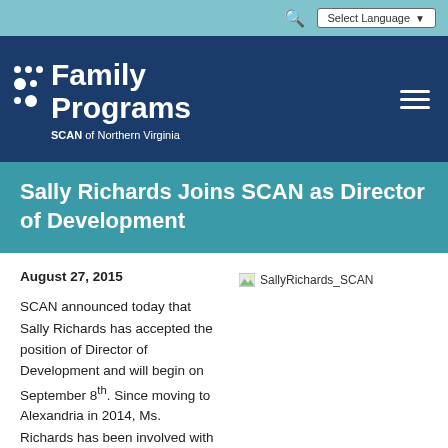Family Programs SCAN of Northern Virginia
Sally Richards Joins SCAN as Director of Development
August 27, 2015
[Figure (photo): SallyRichards_SCAN — broken image placeholder]
SCAN announced today that Sally Richards has accepted the position of Director of Development and will begin on September 8th. Since moving to Alexandria in 2014, Ms. Richards has been involved with grant writing and fundraising locally at Volunteer